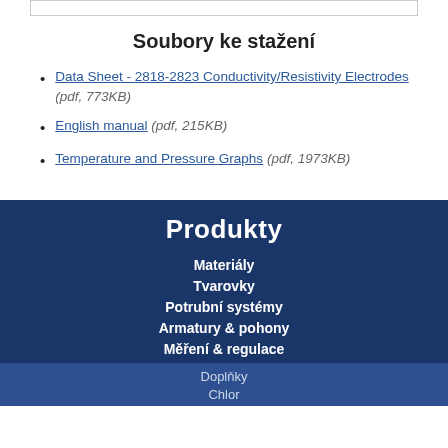Soubory ke stažení
Data Sheet - 2818-2823 Conductivity/Resistivity Electrodes (pdf, 773KB)
English manual (pdf, 215KB)
Temperature and Pressure Graphs (pdf, 1973KB)
Produkty
Materiály
Tvarovky
Potrubní systémy
Armatury & pohony
Měření & regulace
Doplňky
Chlor